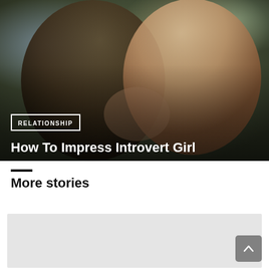[Figure (photo): Two young people facing each other, a young man in an olive hoodie on the left and a young woman with long brown hair in a white blouse on the right, appearing to dance or hold hands outdoors at night with bokeh lights in the background.]
RELATIONSHIP
How To Impress Introvert Girl
More stories
[Figure (photo): Placeholder image for a story card (light grey background).]